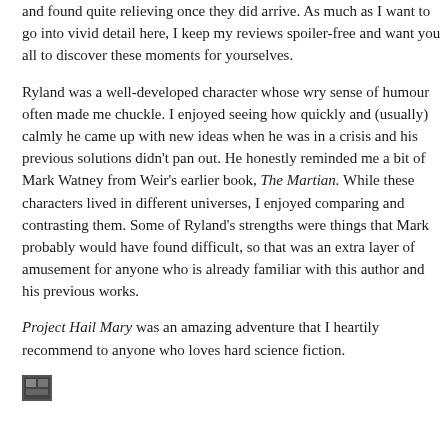…that after that point, some of which I didn't see coming and found quite relieving once they did arrive. As much as I want to go into vivid detail here, I keep my reviews spoiler-free and want you all to discover these moments for yourselves.
Ryland was a well-developed character whose wry sense of humour often made me chuckle. I enjoyed seeing how quickly and (usually) calmly he came up with new ideas when he was in a crisis and his previous solutions didn't pan out. He honestly reminded me a bit of Mark Watney from Weir's earlier book, The Martian. While these characters lived in different universes, I enjoyed comparing and contrasting them. Some of Ryland's strengths were things that Mark probably would have found difficult, so that was an extra layer of amusement for anyone who is already familiar with this author and his previous works.
Project Hail Mary was an amazing adventure that I heartily recommend to anyone who loves hard science fiction.
[Figure (other): Small thumbnail image at bottom left]